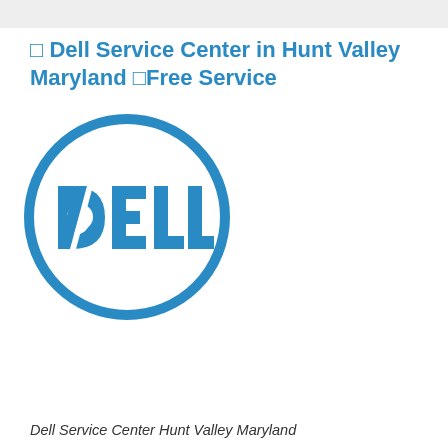⊡ Dell Service Center in Hunt Valley Maryland ⊡Free Service
[Figure (logo): Dell logo: blue circle outline with 'DELL' text in bold blue letters, where the 'E' is styled as a rotated/slanted E shape inside a circle]
Dell Service Center Hunt Valley Maryland